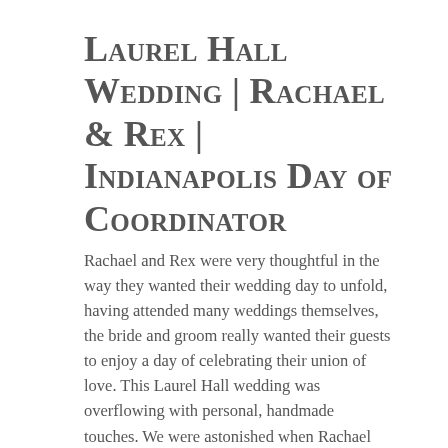Laurel Hall Wedding | Rachael & Rex | Indianapolis Day of Coordinator
Rachael and Rex were very thoughtful in the way they wanted their wedding day to unfold, having attended many weddings themselves, the bride and groom really wanted their guests to enjoy a day of celebrating their union of love. This Laurel Hall wedding was overflowing with personal, handmade touches. We were astonished when Rachael told us her father handmade all of her